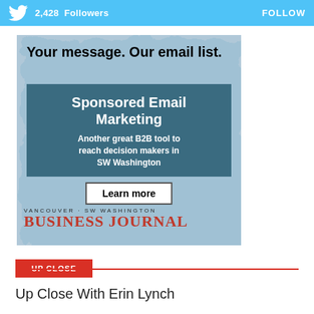[Figure (screenshot): Twitter follow banner showing 2,428 Followers and FOLLOW button on a light blue background with Twitter bird logo]
[Figure (infographic): Advertisement for Vancouver SW Washington Business Journal Sponsored Email Marketing. Text: 'Your message. Our email list. Sponsored Email Marketing. Another great B2B tool to reach decision makers in SW Washington. Learn more.' with Business Journal logo at bottom.]
UP CLOSE
Up Close With Erin Lynch